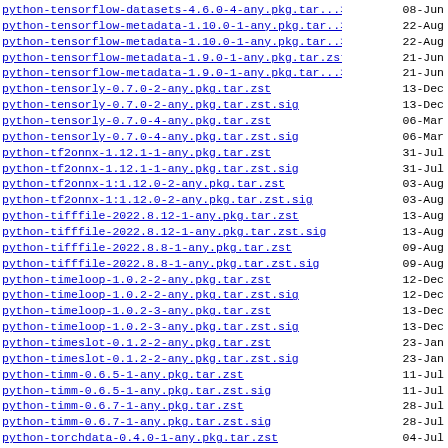python-tensorflow-datasets-4.6.0-4-any.pkg.tar...> 08-Jun
python-tensorflow-metadata-1.10.0-1-any.pkg.tar..> 22-Aug
python-tensorflow-metadata-1.10.0-1-any.pkg.tar..> 22-Aug
python-tensorflow-metadata-1.9.0-1-any.pkg.tar.zst 21-Jun
python-tensorflow-metadata-1.9.0-1-any.pkg.tar...> 21-Jun
python-tensorly-0.7.0-2-any.pkg.tar.zst 13-Dec
python-tensorly-0.7.0-2-any.pkg.tar.zst.sig 13-Dec
python-tensorly-0.7.0-4-any.pkg.tar.zst 06-Mar
python-tensorly-0.7.0-4-any.pkg.tar.zst.sig 06-Mar
python-tf2onnx-1.12.1-1-any.pkg.tar.zst 31-Jul
python-tf2onnx-1.12.1-1-any.pkg.tar.zst.sig 31-Jul
python-tf2onnx-1:1.12.0-2-any.pkg.tar.zst 03-Aug
python-tf2onnx-1:1.12.0-2-any.pkg.tar.zst.sig 03-Aug
python-tifffile-2022.8.12-1-any.pkg.tar.zst 13-Aug
python-tifffile-2022.8.12-1-any.pkg.tar.zst.sig 13-Aug
python-tifffile-2022.8.8-1-any.pkg.tar.zst 09-Aug
python-tifffile-2022.8.8-1-any.pkg.tar.zst.sig 09-Aug
python-timeloop-1.0.2-2-any.pkg.tar.zst 12-Dec
python-timeloop-1.0.2-2-any.pkg.tar.zst.sig 12-Dec
python-timeloop-1.0.2-3-any.pkg.tar.zst 13-Dec
python-timeloop-1.0.2-3-any.pkg.tar.zst.sig 13-Dec
python-timeslot-0.1.2-2-any.pkg.tar.zst 23-Jan
python-timeslot-0.1.2-2-any.pkg.tar.zst.sig 23-Jan
python-timm-0.6.5-1-any.pkg.tar.zst 11-Jul
python-timm-0.6.5-1-any.pkg.tar.zst.sig 11-Jul
python-timm-0.6.7-1-any.pkg.tar.zst 28-Jul
python-timm-0.6.7-1-any.pkg.tar.zst.sig 28-Jul
python-torchdata-0.4.0-1-any.pkg.tar.zst 04-Jul
python-torchdata-0.4.0-1-any.pkg.tar.zst.sig 04-Jul
python-torchdata-0.4.1-1-any.pkg.tar.zst 06-